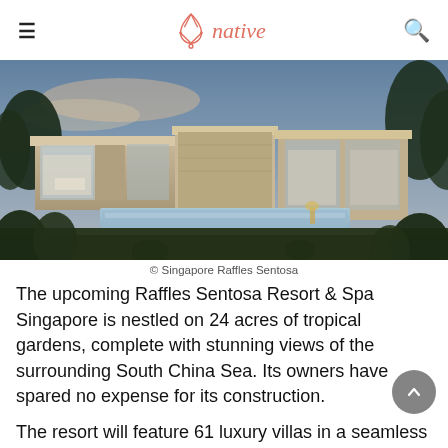native
[Figure (photo): Architectural rendering of Raffles Sentosa Resort & Spa Singapore villas at dusk, showing modern low-rise structures with glass walls, tropical gardens, and a pool area]
© Singapore Raffles Sentosa
The upcoming Raffles Sentosa Resort & Spa Singapore is nestled on 24 acres of tropical gardens, complete with stunning views of the surrounding South China Sea. Its owners have spared no expense for its construction.
The resort will feature 61 luxury villas in a seamless